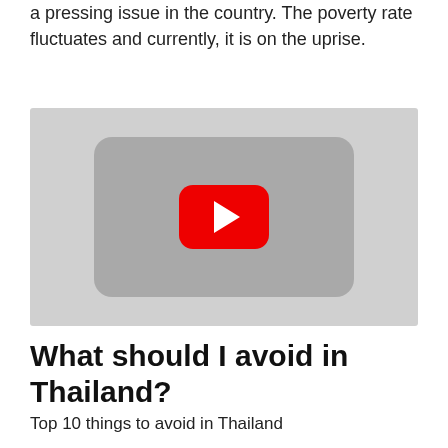a pressing issue in the country. The poverty rate fluctuates and currently, it is on the uprise.
[Figure (screenshot): YouTube video embed placeholder showing a grey background with the YouTube play button (red rounded rectangle with white triangle) in the center.]
What should I avoid in Thailand?
Top 10 things to avoid in Thailand